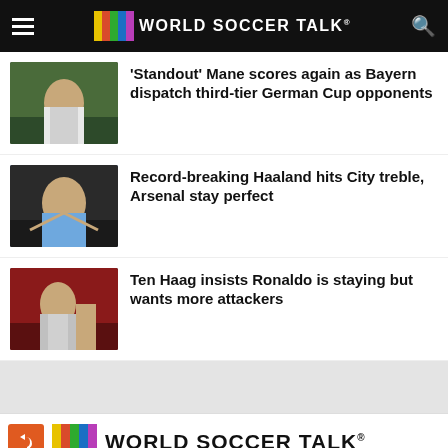WORLD SOCCER TALK
'Standout' Mane scores again as Bayern dispatch third-tier German Cup opponents
Record-breaking Haaland hits City treble, Arsenal stay perfect
Ten Haag insists Ronaldo is staying but wants more attackers
WORLD SOCCER TALK